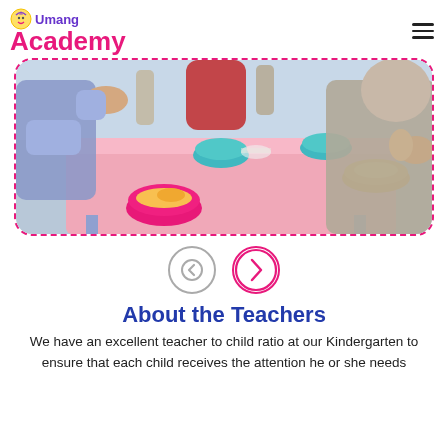Umang Academy
[Figure (photo): Children sitting around a pink table eating from colorful bowls in a kindergarten setting]
[Figure (other): Navigation arrows: left (gray) and right (pink) circle buttons]
About the Teachers
We have an excellent teacher to child ratio at our Kindergarten to ensure that each child receives the attention he or she needs